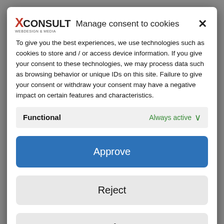[Figure (screenshot): Background website with XCONSULT watermark text]
Manage consent to cookies
To give you the best experiences, we use technologies such as cookies to store and / or access device information. If you give your consent to these technologies, we may process data such as browsing behavior or unique IDs on this site. Failure to give your consent or withdraw your consent may have a negative impact on certain features and characteristics.
Functional    Always active
Approve
Reject
Save preferences
Cookies-Übersicht   Privacy & Cookie Policy   Impressum